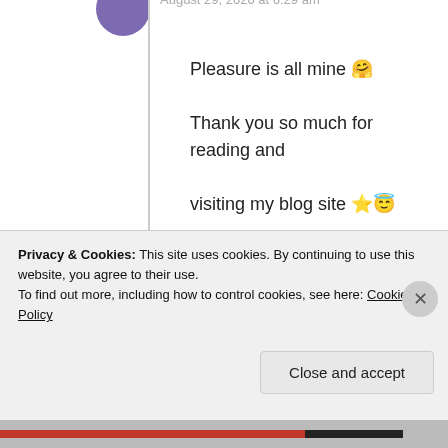August 29, 2020 at 6:29 am
Pleasure is all mine 🤗
Thank you so much for reading and visiting my blog site ⭐😇
★ Liked by 1 person
↪ Reply
Divyen Gadhavi
Privacy & Cookies: This site uses cookies. By continuing to use this website, you agree to their use.
To find out more, including how to control cookies, see here: Cookie Policy
Close and accept